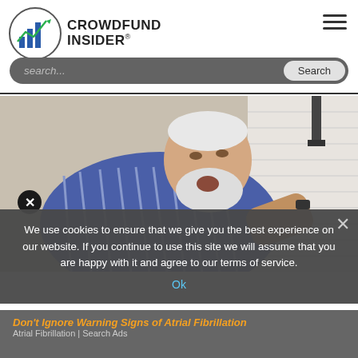CROWDFUND INSIDER
[Figure (screenshot): CrowdFund Insider website screenshot showing logo, search bar, navigation hamburger menu, and an advertisement image of an elderly man clutching his chest with a cookie consent banner overlay and an ad for Atrial Fibrillation search ads.]
We use cookies to ensure that we give you the best experience on our website. If you continue to use this site we will assume that you are happy with it and agree to our terms of service.
Ok
Don't Ignore Warning Signs of Atrial Fibrillation
Atrial Fibrillation | Search Ads